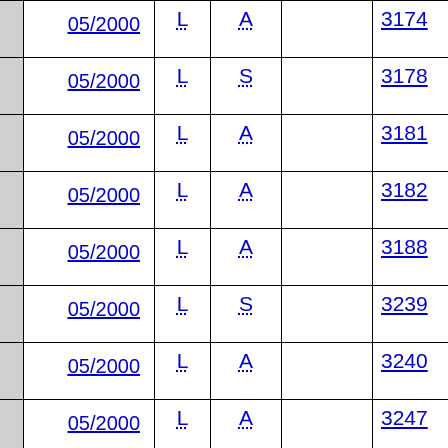|  | Date | L | A/S |  | Number | Code |
| --- | --- | --- | --- | --- | --- | --- |
|  | 05/2000 | L | A |  | 3174 | AD1D... |
|  | 05/2000 | L | S |  | 3178 | AD1D... |
|  | 05/2000 | L | A |  | 3181 | AD1D... |
|  | 05/2000 | L | A |  | 3182 | AD1D... |
|  | 05/2000 | L | A |  | 3188 | AD1D... |
|  | 05/2000 | L | S |  | 3239 | AD1E... |
|  | 05/2000 | L | A |  | 3240 | AD1E... |
|  | 05/2000 | L | A |  | 3247 | AD1E... |